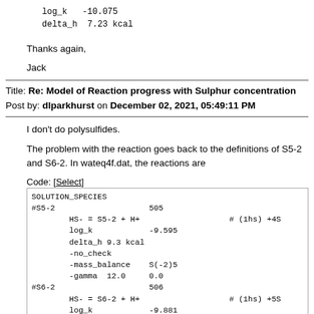log_k   -10.075
delta_h  7.23 kcal
Thanks again,
Jack
Title: Re: Model of Reaction progress with Sulphur concentration
Post by: dlparkhurst on December 02, 2021, 05:49:11 PM
I don't do polysulfides.
The problem with the reaction goes back to the definitions of S5-2 and S6-2. In wateq4f.dat, the reactions are
Code: [Select]
SOLUTION_SPECIES
#S5-2                    505
        HS- = S5-2 + H+                   # (1hs) +4S
        log_k            -9.595
        delta_h 9.3 kcal
        -no_check
        -mass_balance    S(-2)5
        -gamma  12.0     0.0
#S6-2                    506
        HS- = S6-2 + H+                   # (1hs) +5S
        log_k            -9.881
        -no_check
        -mass_balance    S(-2)6